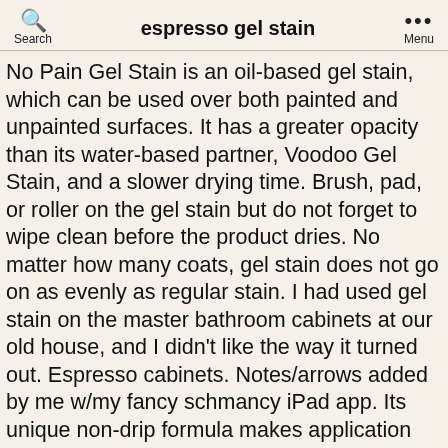espresso gel stain
No Pain Gel Stain is an oil-based gel stain, which can be used over both painted and unpainted surfaces. It has a greater opacity than its water-based partner, Voodoo Gel Stain, and a slower drying time. Brush, pad, or roller on the gel stain but do not forget to wipe clean before the product dries. No matter how many coats, gel stain does not go on as evenly as regular stain. I had used gel stain on the master bathroom cabinets at our old house, and I didn't like the way it turned out. Espresso cabinets. Notes/arrows added by me w/my fancy schmancy iPad app. Its unique non-drip formula makes application easy for vertical surfaces. … See more ideas about gel stain, oak cabinets, staining cabinets. If it is still tacky and cool to the touch, let it dry for days. Brushable White Enamel. Gel stains are very thick and provide a striking color when cured. Hardwood Reflections Espresso gel stain is designed specifically for butcher block or other interior wood products that require a very high-end finish for an